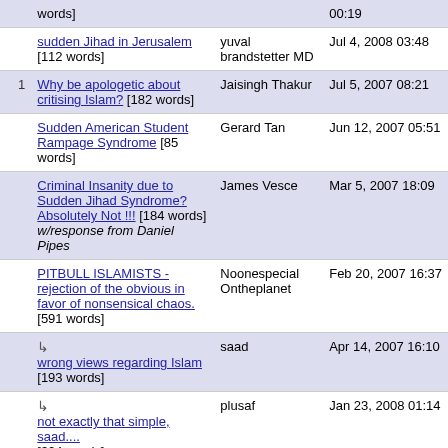| # | Title | Author | Date |
| --- | --- | --- | --- |
|  | words] |  | 00:19 |
|  | sudden Jihad in Jerusalem [112 words] | yuval brandstetter MD | Jul 4, 2008 03:48 |
| 1 | Why be apologetic about critising Islam? [182 words] | Jaisingh Thakur | Jul 5, 2007 08:21 |
|  | Sudden American Student Rampage Syndrome [85 words] | Gerard Tan | Jun 12, 2007 05:51 |
|  | Criminal Insanity due to Sudden Jihad Syndrome? Absolutely Not !!! [184 words] w/response from Daniel Pipes | James Vesce | Mar 5, 2007 18:09 |
|  | PITBULL ISLAMISTS - rejection of the obvious in favor of nonsensical chaos. [591 words] | Noonespecial Ontheplanet | Feb 20, 2007 16:37 |
|  | ↳ wrong views regarding Islam [193 words] | saad | Apr 14, 2007 16:10 |
|  | ↳ not exactly that simple, saad.... [324 words] | plusaf | Jan 23, 2008 01:14 |
|  | ↳ Wrong view of the One to Come | Alice | Apr 27, 2008 |